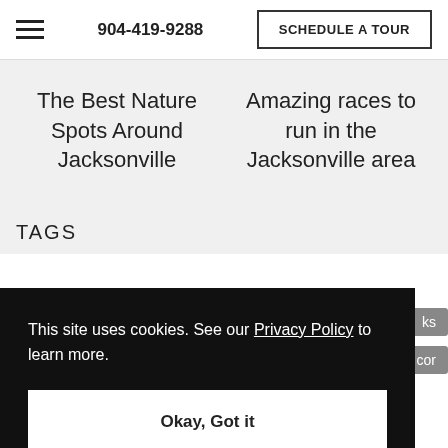904-419-9288  SCHEDULE A TOUR
The Best Nature Spots Around Jacksonville
Amazing races to run in the Jacksonville area
TAGS
This site uses cookies. See our Privacy Policy to learn more.
Okay, Got it